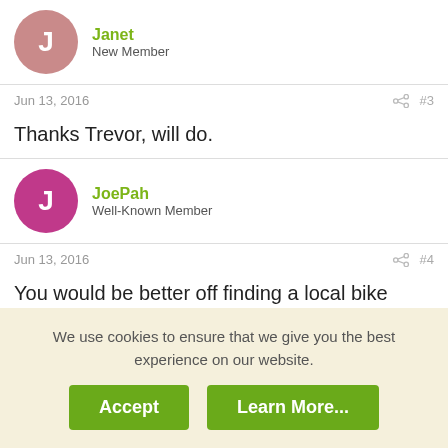J
Janet
New Member
Jun 13, 2016  #3
Thanks Trevor, will do.
J
JoePah
Well-Known Member
Jun 13, 2016  #4
You would be better off finding a local bike shop that sells ebikes and ride a few... Probably a step through.. Look for a Demo or leftover model.

eBikes are all about comfort fit and if you like the way it
We use cookies to ensure that we give you the best experience on our website.
Accept  Learn More...